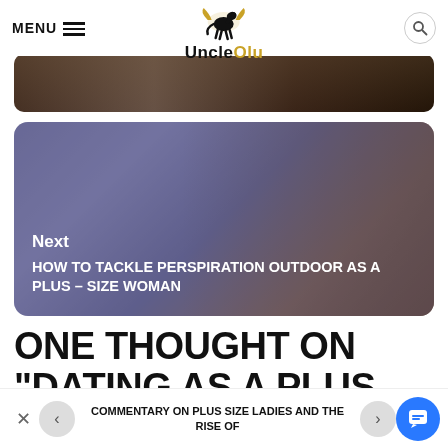MENU | UncleOlu
[Figure (photo): Dark background image strip at top of article page]
[Figure (photo): Next article card showing a plus-size woman lifting pink dumbbells with overlay text: Next / HOW TO TACKLE PERSPIRATION OUTDOOR AS A PLUS – SIZE WOMAN]
ONE THOUGHT ON “DATING AS A PLUS – SIZE WOMAN”
COMMENTARY ON PLUS SIZE LADIES AND THE RISE OF